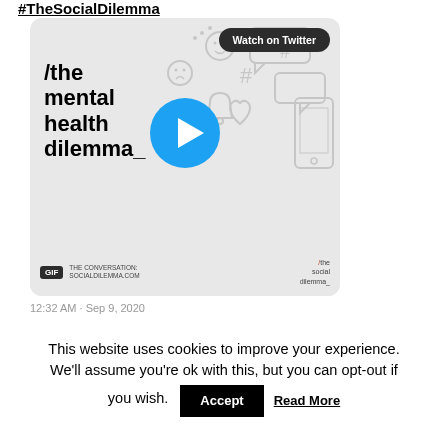#TheSocialDilemma
[Figure (screenshot): Twitter/social media embed card showing a GIF/video thumbnail for 'the mental health dilemma_' from socialdilemma.com, with a 'Watch on Twitter' button and a play button overlay on a light grey background with social media icon illustrations.]
This website uses cookies to improve your experience. We'll assume you're ok with this, but you can opt-out if you wish.
Accept
Read More